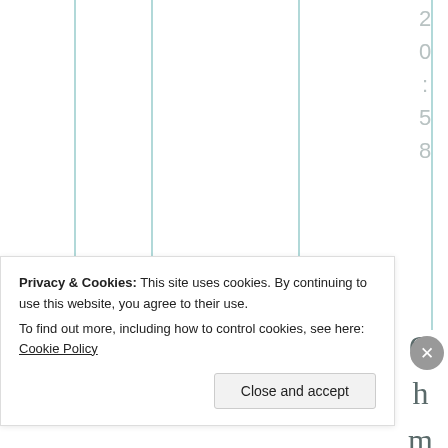[Figure (other): Partial view of a table or chart with vertical column divider lines in teal/green color on white background, cropped at top and sides]
2 0 : 5 8
O h m y w o
Privacy & Cookies: This site uses cookies. By continuing to use this website, you agree to their use.
To find out more, including how to control cookies, see here: Cookie Policy
Close and accept